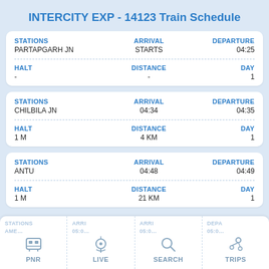INTERCITY EXP - 14123 Train Schedule
| STATIONS | ARRIVAL | DEPARTURE |
| --- | --- | --- |
| PARTAPGARH JN | STARTS | 04:25 |
| HALT | DISTANCE | DAY |
| --- | --- | --- |
| - | - | 1 |
| STATIONS | ARRIVAL | DEPARTURE |
| --- | --- | --- |
| CHILBILA JN | 04:34 | 04:35 |
| HALT | DISTANCE | DAY |
| --- | --- | --- |
| 1 M | 4 KM | 1 |
| STATIONS | ARRIVAL | DEPARTURE |
| --- | --- | --- |
| ANTU | 04:48 | 04:49 |
| HALT | DISTANCE | DAY |
| --- | --- | --- |
| 1 M | 21 KM | 1 |
PNR | LIVE | SEARCH | TRIPS